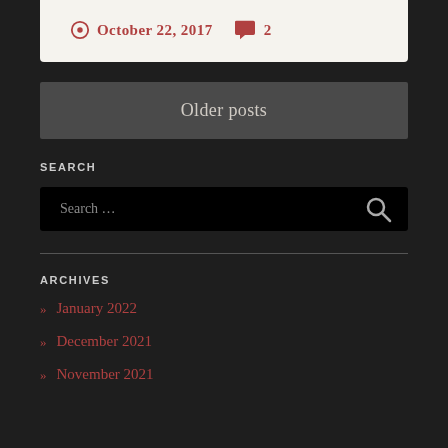October 22, 2017   2
Older posts
SEARCH
Search ...
ARCHIVES
» January 2022
» December 2021
» November 2021